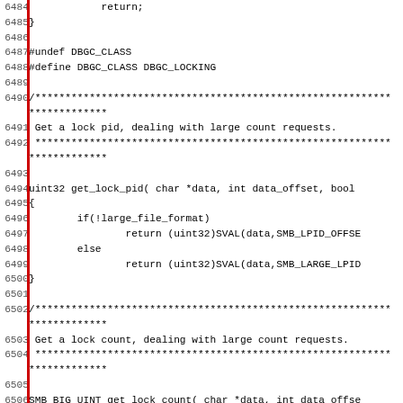Source code listing lines 6484-6515, C programming language code for SMB lock functions